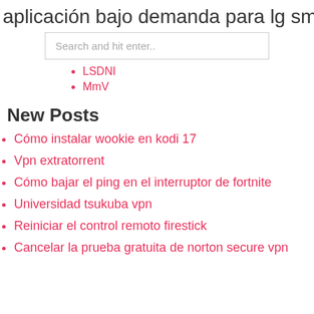aplicación bajo demanda para lg sm
Search and hit enter..
LSDNI
MmV
New Posts
Cómo instalar wookie en kodi 17
Vpn extratorrent
Cómo bajar el ping en el interruptor de fortnite
Universidad tsukuba vpn
Reiniciar el control remoto firestick
Cancelar la prueba gratuita de norton secure vpn